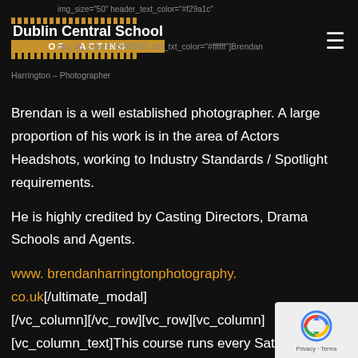img_size="50" header_text_color="#f29a1c" btn_bg_color="#999999" btn_txt_color="#ffffff"]Brendan Harrington – Photographer
[Figure (logo): Dublin Central School of Acting logo with gold film strip dots and orange banner]
Brendan is a well established photographer. A large proportion of his work is in the area of Actors Headshots, working to Industry Standards / Spotlight requirements.
He is highly credited by Casting Directors, Drama Schools and Agents.
www.brendanharringtonphotography.co.uk[/ultimate_modal] [/vc_column][/vc_row][vc_row][vc_column] [vc_column_text]This course runs every Saturday from 10am – 5pm The next available course  starts on Saturday September 14th 2019.
[Figure (other): reCAPTCHA badge with Privacy and Terms text]